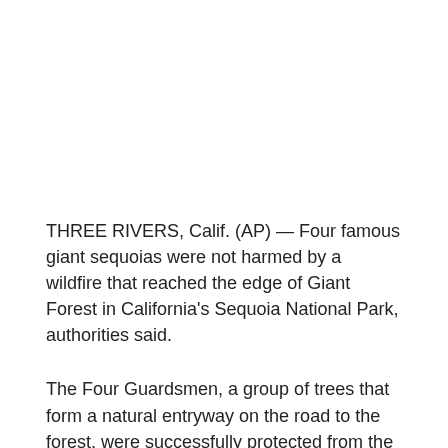THREE RIVERS, Calif. (AP) — Four famous giant sequoias were not harmed by a wildfire that reached the edge of Giant Forest in California's Sequoia National Park, authorities said.
The Four Guardsmen, a group of trees that form a natural entryway on the road to the forest, were successfully protected from the KNP Complex fire by the removal of nearby vegetation and by wrapping fire-resistant material around the bases of the trees, the firefighting management team said in a statement Sunday.
The KNP Complex began as two lightning-sparked fires that eventually merged and has scorched more than 37 square